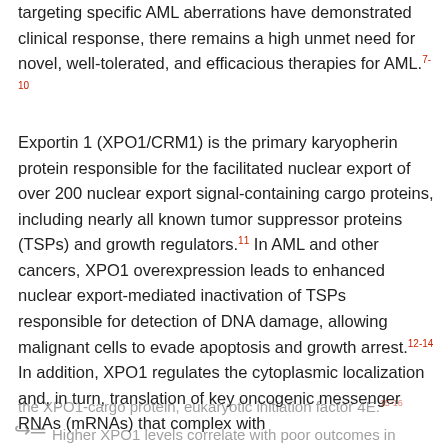targeting specific AML aberrations have demonstrated clinical response, there remains a high unmet need for novel, well-tolerated, and efficacious therapies for AML.7-10
Exportin 1 (XPO1/CRM1) is the primary karyopherin protein responsible for the facilitated nuclear export of over 200 nuclear export signal-containing cargo proteins, including nearly all known tumor suppressor proteins (TSPs) and growth regulators.11 In AML and other cancers, XPO1 overexpression leads to enhanced nuclear export-mediated inactivation of TSPs responsible for detection of DNA damage, allowing malignant cells to evade apoptosis and growth arrest.12-14 In addition, XPO1 regulates the cytoplasmic localization and, in turn, translation of key oncogenic messenger RNAs (mRNAs) that complex with
the XPO1-cargo protein, eukaryotic initiation factor 4E.15-16
Higher XPO1 levels correlate with poor outcomes in